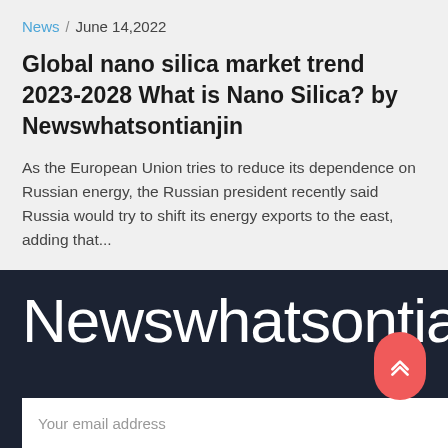News / June 14,2022
Global nano silica market trend 2023-2028 What is Nano Silica? by Newswhatsontianjin
As the European Union tries to reduce its dependence on Russian energy, the Russian president recently said Russia would try to shift its energy exports to the east, adding that...
Newswhatsontianjin
Your email address